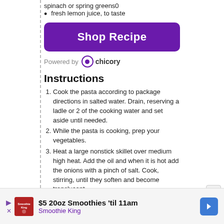spinach or spring greens0
fresh lemon juice, to taste
[Figure (other): Purple 'Shop Recipe' button with rounded corners]
Powered by chicory
Instructions
Cook the pasta according to package directions in salted water. Drain, reserving a ladle or 2 of the cooking water and set aside until needed.
While the pasta is cooking, prep your vegetables.
Heat a large nonstick skillet over medium high heat. Add the oil and when it is hot add the onions with a pinch of salt. Cook, stirring, until they soften and become translucent.
Add the garlic with some freshly ground black pepper. Stir and cook for 2-3 minutes.
Add the mushrooms with another pinch of salt. Cook until the mushrooms have released their liquid and are browning, about 7 minutes.
Add the asparagus with a ladle of pasta cooking water. Stir and let the water boil off.
Add the shrimp and the sugar snap pea pods at the
[Figure (other): Advertisement bar: $5 20oz Smoothies 'til 11am - Smoothie King]